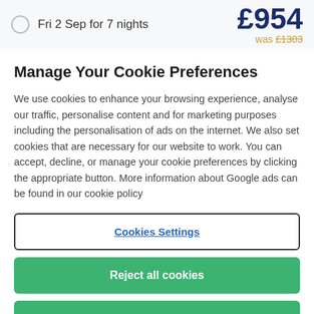Fri 2 Sep for 7 nights
£954 was £1303
Manage Your Cookie Preferences
We use cookies to enhance your browsing experience, analyse our traffic, personalise content and for marketing purposes including the personalisation of ads on the internet. We also set cookies that are necessary for our website to work. You can accept, decline, or manage your cookie preferences by clicking the appropriate button. More information about Google ads can be found in our cookie policy
Cookies Settings
Reject all cookies
Accept all cookies